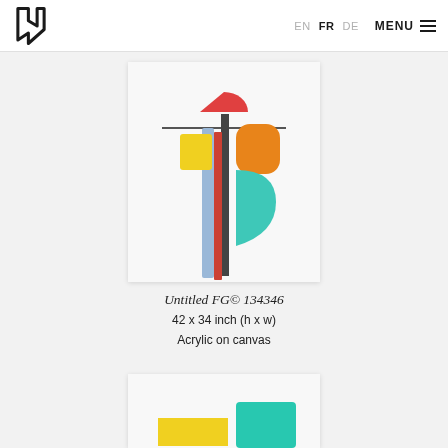EN FR DE MENU
[Figure (illustration): Abstract colorful painting on white canvas showing a cross-like figure with geometric colored shapes: a red half-circle at top, yellow rectangle on left, orange rounded rectangle on right, teal curved shape on lower right, and vertical stripes in red, gray/dark, and blue descending from the horizontal bar.]
Untitled FG© 134346
42 x 34 inch (h x w)
Acrylic on canvas
[Figure (illustration): Partial view of a second abstract painting showing yellow and teal/turquoise geometric shapes at the bottom edge.]